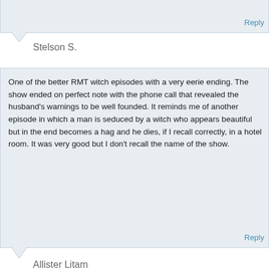Reply
Stelson S.
One of the better RMT witch episodes with a very eerie ending. The show ended on perfect note with the phone call that revealed the husband's warnings to be well founded. It reminds me of another episode in which a man is seduced by a witch who appears beautiful but in the end becomes a hag and he dies, if I recall correctly, in a hotel room. It was very good but I don't recall the name of the show.
Reply
Allister Litam
You may be referring to the episode "Hell Hath No Fury" in which (no pun intended) Teri Keane is a witch who assumes the beautiful image of her murdered sister to ensnare and punish the brother-in-law who slayed her. He ends up mad and delusional and eventually dies from the situation.
Reply